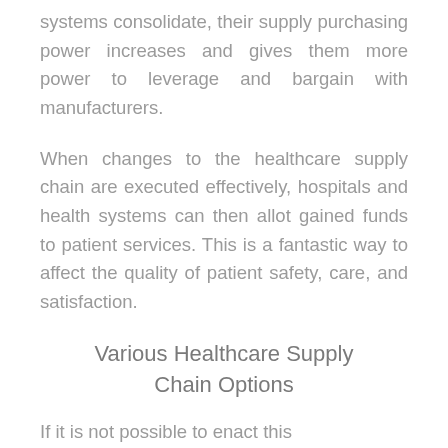systems consolidate, their supply purchasing power increases and gives them more power to leverage and bargain with manufacturers.
When changes to the healthcare supply chain are executed effectively, hospitals and health systems can then allot gained funds to patient services. This is a fantastic way to affect the quality of patient safety, care, and satisfaction.
Various Healthcare Supply Chain Options
If it is not possible to enact this